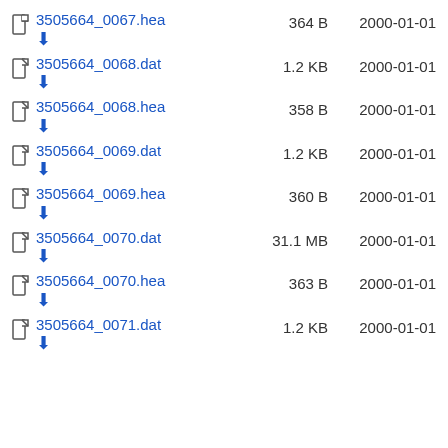3505664_0067.hea  364 B  2000-01-01
3505664_0068.dat  1.2 KB  2000-01-01
3505664_0068.hea  358 B  2000-01-01
3505664_0069.dat  1.2 KB  2000-01-01
3505664_0069.hea  360 B  2000-01-01
3505664_0070.dat  31.1 MB  2000-01-01
3505664_0070.hea  363 B  2000-01-01
3505664_0071.dat  1.2 KB  2000-01-01